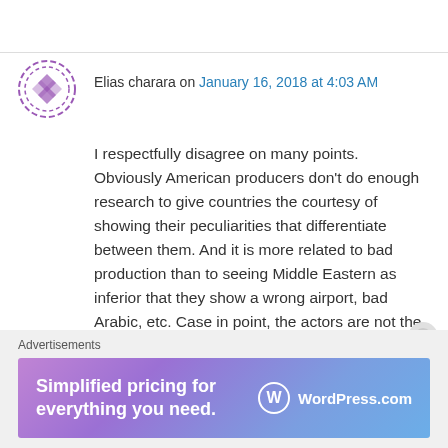Elias charara on January 16, 2018 at 4:03 AM
I respectfully disagree on many points. Obviously American producers don't do enough research to give countries the courtesy of showing their peculiarities that differentiate between them. And it is more related to bad production than to seeing Middle Eastern as inferior that they show a wrong airport, bad Arabic, etc. Case in point, the actors are not the best ever.
But on the point that Beirut in 1982 was not a
Advertisements
[Figure (infographic): WordPress.com advertisement banner with gradient purple-blue background. Text reads: Simplified pricing for everything you need. WordPress.com logo on right.]